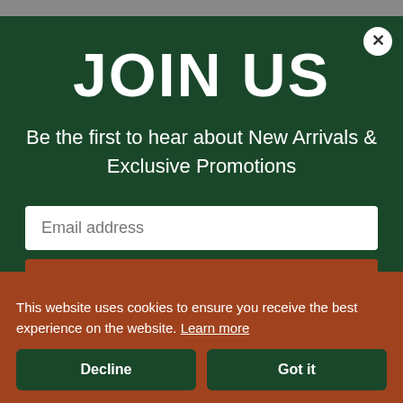JOIN US
Be the first to hear about New Arrivals & Exclusive Promotions
Email address
SIGN UP
This website uses cookies to ensure you receive the best experience on the website. Learn more
Decline
Got it